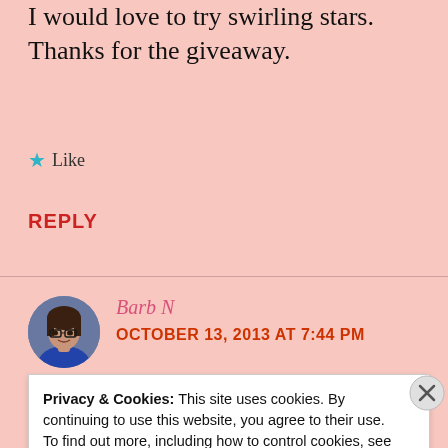I would love to try swirling stars. Thanks for the giveaway.
★ Like
REPLY
Barb N
OCTOBER 13, 2013 AT 7:44 PM
Privacy & Cookies: This site uses cookies. By continuing to use this website, you agree to their use.
To find out more, including how to control cookies, see here: Cookie Policy
Close and accept